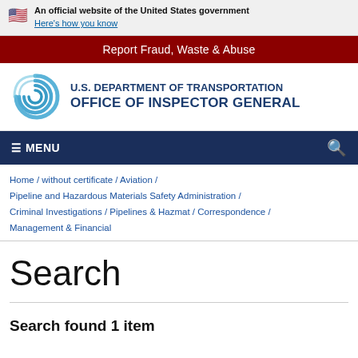An official website of the United States government
Here's how you know
Report Fraud, Waste & Abuse
[Figure (logo): U.S. Department of Transportation Office of Inspector General logo with circular swirl emblem]
≡ MENU
Home / without certificate / Aviation / Pipeline and Hazardous Materials Safety Administration / Criminal Investigations / Pipelines & Hazmat / Correspondence / Management & Financial
Search
Search found 1 item